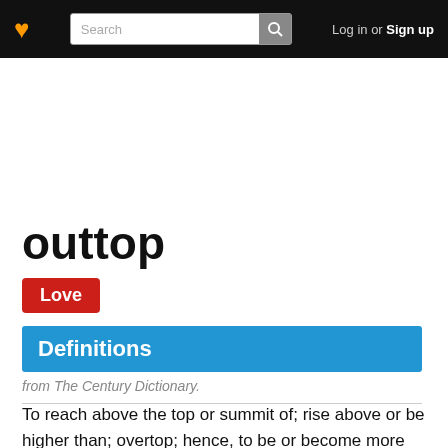♥ [Search] Log in or Sign up
outtop
Love
Definitions
from The Century Dictionary.
To reach above the top or summit of; rise above or be higher than; overtop; hence, to be or become more eminent than; excel.